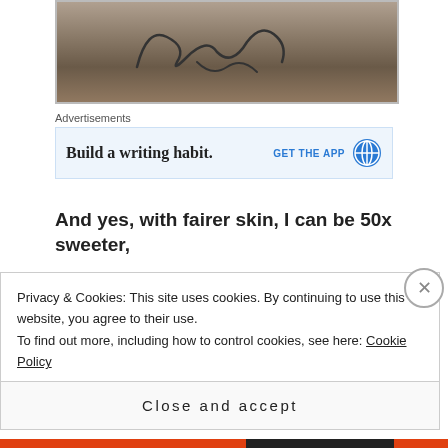[Figure (photo): Close-up photo of person's legs with an autograph/signature drawn on them, on a gray floor background]
Advertisements
[Figure (screenshot): Advertisement banner: 'Build a writing habit.' with 'GET THE APP' button and WordPress logo]
And yes, with fairer skin, I can be 50x sweeter,
Privacy & Cookies: This site uses cookies. By continuing to use this website, you agree to their use.
To find out more, including how to control cookies, see here: Cookie Policy
Close and accept